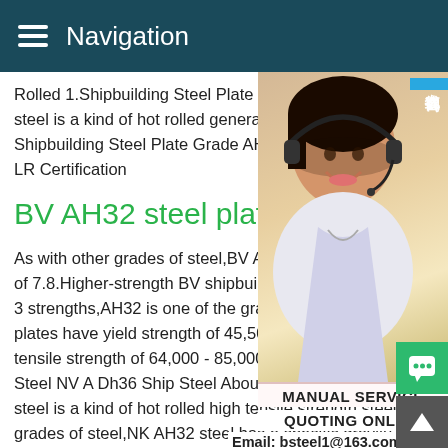Navigation
Rolled 1.Shipbuilding Steel Plate +Introduction steel is a kind of hot rolled general Read More Shipbuilding Steel Plate Grade AH32 DH36 LR Certification
BV AH32 steel plate
As with other grades of steel,BV AH32 steel has a specific gravity of 7.8.Higher-strength BV shipbuilding steel comes in 12 grades of 3 strengths,AH32 is one of the grades.The plates have yield strength of 45,500 psi (315 MPa) and tensile strength of 64,000 - 85,000 psi (440-590 MPa).Ah36 Ship Steel NV A Dh36 Ship Steel About UsNK AH32 steel plateNK AH32 steel is a kind of hot rolled high tensile strength steel.As with other grades of steel,NK AH32 steel has a specific gravity of 7.8.Higher-strength NK shipbuilding steel comes in 12 grades of 3 strengths,AH32 is one of the grades.ASTM A131 Grade AH32 - Low Ca
[Figure (photo): Customer service representative wearing headset, smiling, with Chinese text badge reading 在线咨询 (Online Consultation) and service widgets showing MANUAL SERVICE, QUOTING ONLINE, Email: bsteel1@163.com]